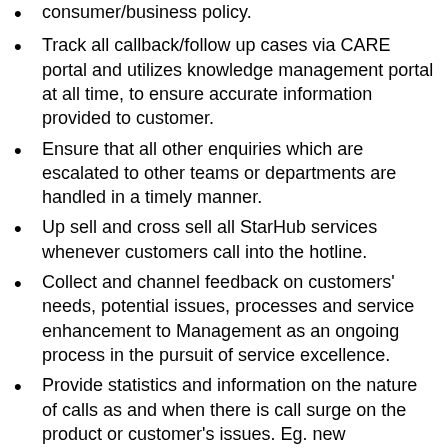consumer/business policy.
Track all callback/follow up cases via CARE portal and utilizes knowledge management portal at all time, to ensure accurate information provided to customer.
Ensure that all other enquiries which are escalated to other teams or departments are handled in a timely manner.
Up sell and cross sell all StarHub services whenever customers call into the hotline.
Collect and channel feedback on customers' needs, potential issues, processes and service enhancement to Management as an ongoing process in the pursuit of service excellence.
Provide statistics and information on the nature of calls as and when there is call surge on the product or customer's issues. Eg. new promotions, product launches and technical outages.
Provide ad-hoc onsite support / make outbound calls to resolve issues for exceptional customers.